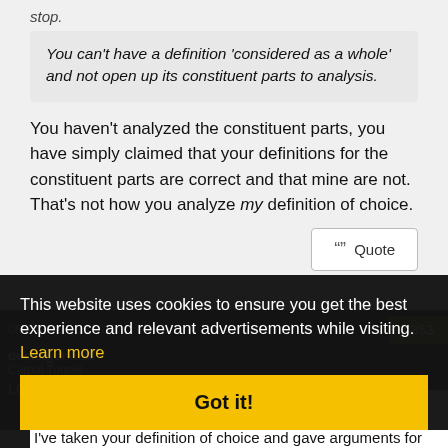stop.
You can't have a definition 'considered as a whole' and not open up its constituent parts to analysis.
You haven't analyzed the constituent parts, you have simply claimed that your definitions for the constituent parts are correct and that mine are not. That's not how you analyze my definition of choice.
Quote
06-15-2010, 06:27 PM
#853
duckagurka33
Carpal Tunnel
LOL.
You aren't actually engaging any of my arguments then.
This website uses cookies to ensure you get the best experience and relevant advertisements while visiting. Learn more
Got it!
I've taken your definition of choice and gave arguments for why having a 'range of options' implies being able to select